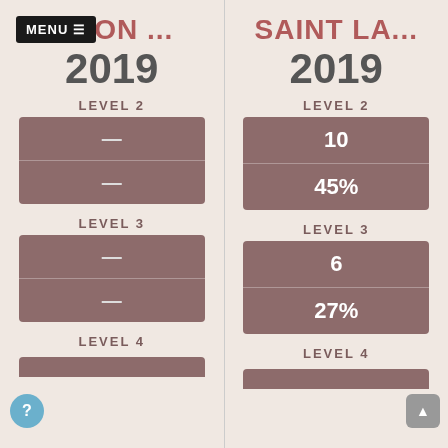[Figure (screenshot): Menu button top-left with hamburger icon]
...TON ...
2019
LEVEL 2
| — |
| — |
LEVEL 3
| — |
| — |
LEVEL 4
SAINT LA...
2019
LEVEL 2
| 10 |
| 45% |
LEVEL 3
| 6 |
| 27% |
LEVEL 4